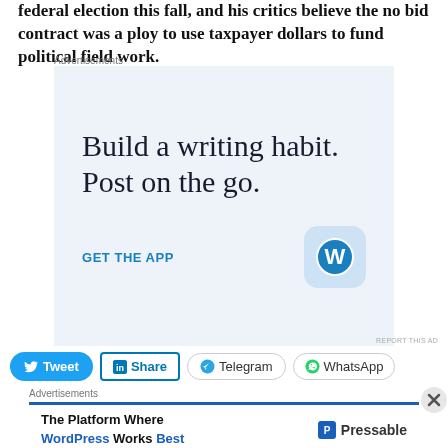federal election this fall, and his critics believe the no bid contract was a ploy to use taxpayer dollars to fund political field work.
[Figure (screenshot): Advertisement banner for WordPress mobile app: 'Build a writing habit. Post on the go.' with GET THE APP call to action and WordPress logo icon.]
[Figure (infographic): Social sharing buttons row: Tweet (Twitter/X), Share (LinkedIn), Telegram, WhatsApp]
[Figure (screenshot): Advertisement banner: 'The Platform Where WordPress Works Best' with Pressable logo on the right.]